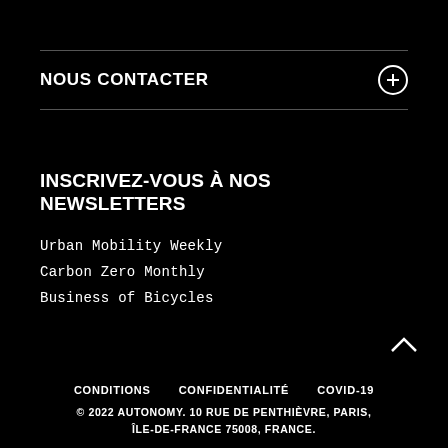NOUS CONTACTER
INSCRIVEZ-VOUS À NOS NEWSLETTERS
Urban Mobility Weekly
Carbon Zero Monthly
Business of Bicycles
CONDITIONS   CONFIDENTIALITÉ   COVID-19
© 2022 AUTONOMY. 10 RUE DE PENTHIÈVRE, PARIS, ÎLE-DE-FRANCE 75008, FRANCE.